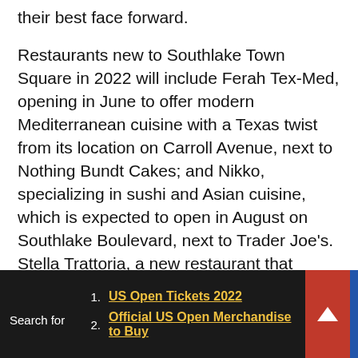their best face forward. Restaurants new to Southlake Town Square in 2022 will include Ferah Tex-Med, opening in June to offer modern Mediterranean cuisine with a Texas twist from its location on Carroll Avenue, next to Nothing Bundt Cakes; and Nikko, specializing in sushi and Asian cuisine, which is expected to open in August on Southlake Boulevard, next to Trader Joe's. Stella Trattoria, a new restaurant that opened in April, offers authentic Italian cuisine on State Street, across from Market by Macy's.
The fun is already ramping up at Southlake Town Square, with EVO Entertainment's 68,733-square-foot entertainment destination at 1450 Plaza Place
1. US Open Tickets 2022
2. Official US Open Merchandise to Buy